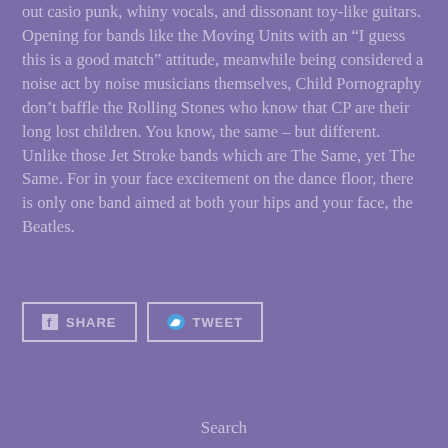out casio punk, whiny vocals, and dissonant toy-like guitars. Opening for bands like the Moving Units with an “I guess this is a good match” attitude, meanwhile being considered a noise act by noise musicians themselves, Child Pornography don’t baffle the Rolling Stones who know that CP are their long lost children. You know, the same – but different. Unlike those Jet Stroke bands which are The Same, yet The Same. For in your face excitement on the dance floor, there is only one band aimed at both your hips and your face, the Beatles.
SHARE
TWEET
Search